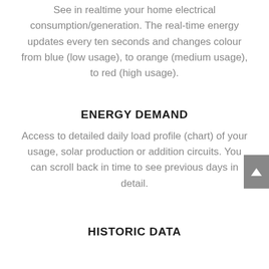See in realtime your home electrical consumption/generation. The real-time energy updates every ten seconds and changes colour from blue (low usage), to orange (medium usage), to red (high usage).
ENERGY DEMAND
Access to detailed daily load profile (chart) of your usage, solar production or addition circuits. You can scroll back in time to see previous days in detail.
HISTORIC DATA